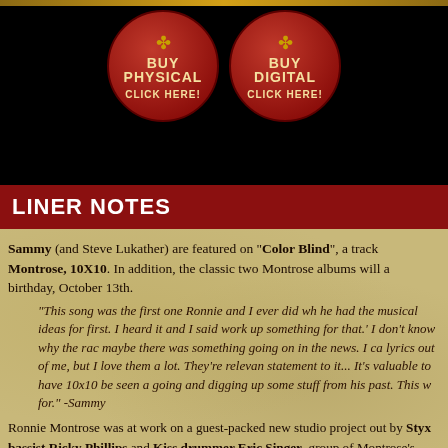[Figure (other): Two circular red buy buttons: BUY PHYSICAL CLICK HERE! and BUY DIGITAL CLICK HERE! with decorative icons on black background]
LINER NOTES
Sammy (and Steve Lukather) are featured on "Color Blind", a track Montrose, 10X10. In addition, the classic two Montrose albums will a birthday, October 13th.
"This song was the first one Ronnie and I ever did wh he had the musical ideas for first. I heard it and I said work up something for that.' I don't know why the rac maybe there was something going on in the news. I c lyrics out of me, but I love them a lot. They're relevan statement to it... It's valuable to have 10x10 be seen a going and digging up some stuff from his past. This w for." -Sammy
Ronnie Montrose was at work on a guest-packed new studio project out by Styx bassist Ricky Phillips and Kiss drummer Eric Singer. group of Montrose's friends and collaborators that includes Sammy